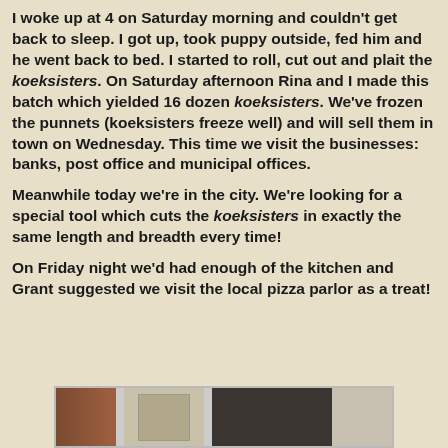I woke up at 4 on Saturday morning and couldn't get back to sleep. I got up, took puppy outside, fed him and he went back to bed. I started to roll, cut out and plait the koeksisters. On Saturday afternoon Rina and I made this batch which yielded 16 dozen koeksisters. We've frozen the punnets (koeksisters freeze well) and will sell them in town on Wednesday. This time we visit the businesses: banks, post office and municipal offices.
Meanwhile today we're in the city. We're looking for a special tool which cuts the koeksisters in exactly the same length and breadth every time!
On Friday night we'd had enough of the kitchen and Grant suggested we visit the local pizza parlor as a treat!
[Figure (photo): A partial photo showing what appears to be wooden panels or furniture items in brown and dark tones with a framed item in the center.]